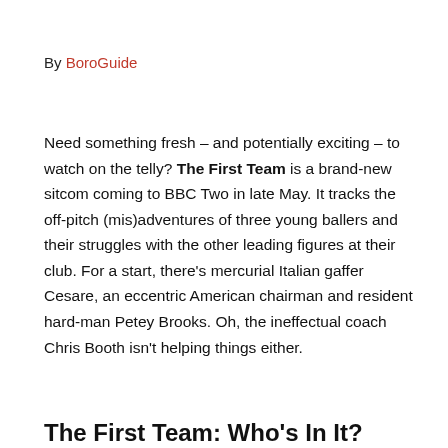By BoroGuide
Need something fresh – and potentially exciting – to watch on the telly? The First Team is a brand-new sitcom coming to BBC Two in late May. It tracks the off-pitch (mis)adventures of three young ballers and their struggles with the other leading figures at their club. For a start, there's mercurial Italian gaffer Cesare, an eccentric American chairman and resident hard-man Petey Brooks. Oh, the ineffectual coach Chris Booth isn't helping things either.
The First Team: Who's In It?